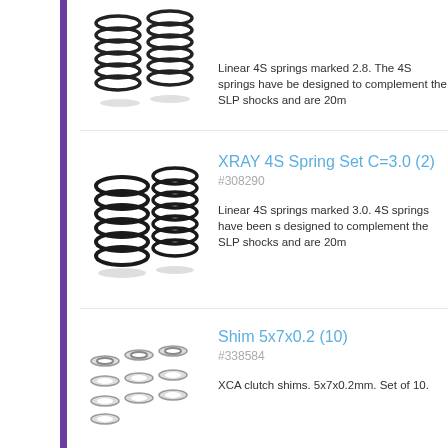[Figure (photo): Two coil springs (4S Spring Set C=2.8) partially visible at top of page]
Linear 4S springs marked 2.8. The 4S springs have be designed to complement the SLP shocks and are 20m
[Figure (photo): Two coil springs for XRAY 4S Spring Set C=3.0]
XRAY 4S Spring Set C=3.0 (2)
#308290
Linear 4S springs marked 3.0. 4S springs have been s designed to complement the SLP shocks and are 20m
[Figure (photo): Ten small metal shims arranged in a grid pattern]
Shim 5x7x0.2 (10)
#338584
XCA clutch shims. 5x7x0.2mm. Set of 10.